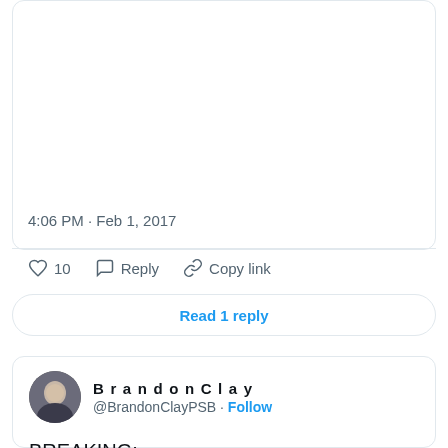4:06 PM · Feb 1, 2017
♡ 10   Reply   Copy link
Read 1 reply
[Figure (screenshot): Twitter profile avatar for BrandonClay]
BrandonClay @BrandonClayPSB · Follow
BREAKING:

Available '17 #SMPMember @HaileyHigashi from Chaminade.